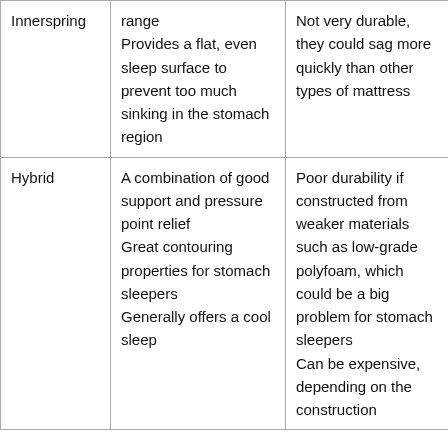| Innerspring | range
Provides a flat, even sleep surface to prevent too much sinking in the stomach region | Not very durable, they could sag more quickly than other types of mattress |
| Hybrid | A combination of good support and pressure point relief
Great contouring properties for stomach sleepers
Generally offers a cool sleep | Poor durability if constructed from weaker materials such as low-grade polyfoam, which could be a big problem for stomach sleepers
Can be expensive, depending on the construction |